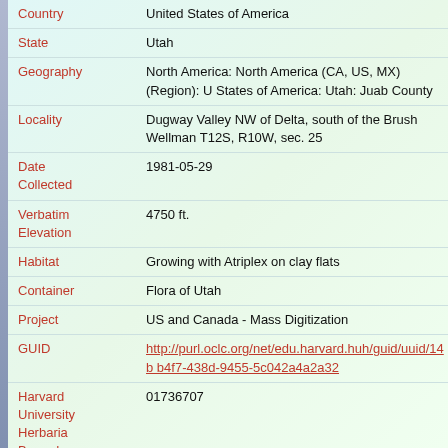| Field | Value |
| --- | --- |
| Country | United States of America |
| State | Utah |
| Geography | North America: North America (CA, US, MX) (Region): United States of America: Utah: Juab County |
| Locality | Dugway Valley NW of Delta, south of the Brush Wellman mine, T12S, R10W, sec. 25 |
| Date Collected | 1981-05-29 |
| Verbatim Elevation | 4750 ft. |
| Habitat | Growing with Atriplex on clay flats |
| Container | Flora of Utah |
| Project | US and Canada - Mass Digitization |
| GUID | http://purl.oclc.org/net/edu.harvard.huh/guid/uuid/14b b4f7-438d-9455-5c042a4a2a32 |
| Harvard University Herbaria Barcode | 01736707 |
| Herbarium | GH |
| Family | Brassicaceae |
| Determination | Thelypodiopsis vermicularis (S. L. Welsh & Reveal) R... |